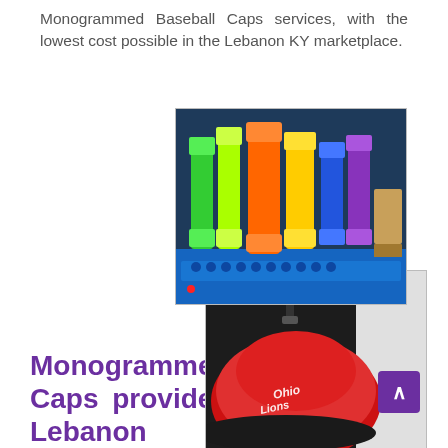Monogrammed Baseball Caps services, with the lowest cost possible in the Lebanon KY marketplace.
[Figure (photo): Photo of colorful embroidery thread spools on an embroidery machine, showing multiple colors including green, orange, yellow, blue, purple, and red.]
[Figure (photo): Photo of a red baseball cap being embroidered on an embroidery machine, with text visible on the cap.]
Monogrammed Baseball Caps provider of choice for Lebanon